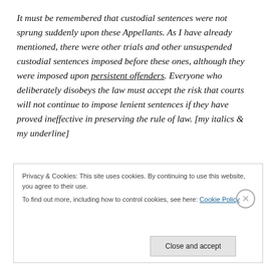It must be remembered that custodial sentences were not sprung suddenly upon these Appellants. As I have already mentioned, there were other trials and other unsuspended custodial sentences imposed before these ones, although they were imposed upon persistent offenders. Everyone who deliberately disobeys the law must accept the risk that courts will not continue to impose lenient sentences if they have proved ineffective in preserving the rule of law. [my italics & my underline]
Privacy & Cookies: This site uses cookies. By continuing to use this website, you agree to their use.
To find out more, including how to control cookies, see here: Cookie Policy